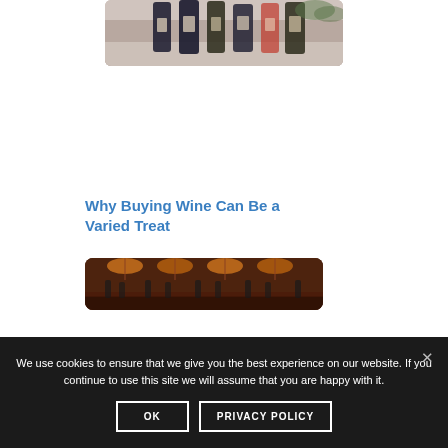[Figure (photo): Wine bottles arranged on a surface, viewed from above or at slight angle, dark bottles with labels visible]
Why Buying Wine Can Be a Varied Treat
[Figure (photo): Interior of a bar or wine cellar with warm orange lighting, bottles hanging or displayed on shelves]
We use cookies to ensure that we give you the best experience on our website. If you continue to use this site we will assume that you are happy with it.
OK   PRIVACY POLICY